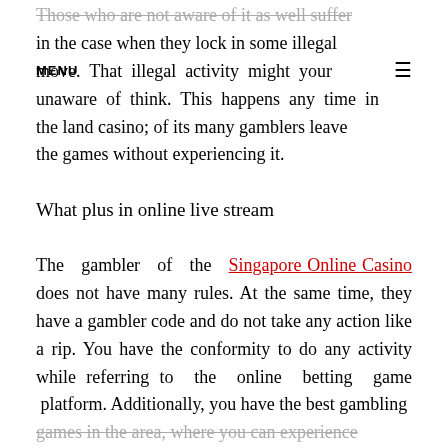Those who are not aware of it as well suffer in the case when they lock in some illegal move. That illegal activity might your unaware of think. This happens any time in the land casino; of its many gamblers leave the games without experiencing it.
MENU ≡
What plus in online live stream
The gambler of the Singapore Online Casino does not have many rules. At the same time, they have a gambler code and do not take any action like a rip. You have the conformity to do any activity while referring to the online betting game platform. Additionally, you have the best gambling games in the area, where you can experience...